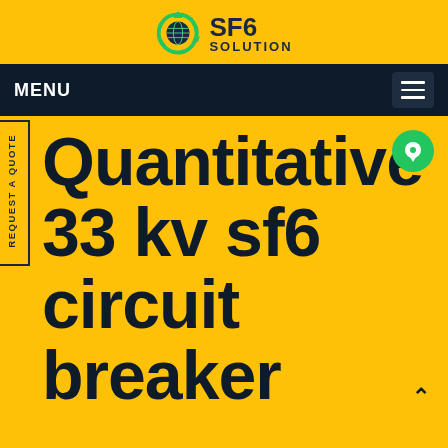[Figure (logo): SF6 Solution logo with green circular arrow icon and dark navy text]
MENU
REQUEST A QUOTE
Quantitative 33 kv sf6 circuit breaker